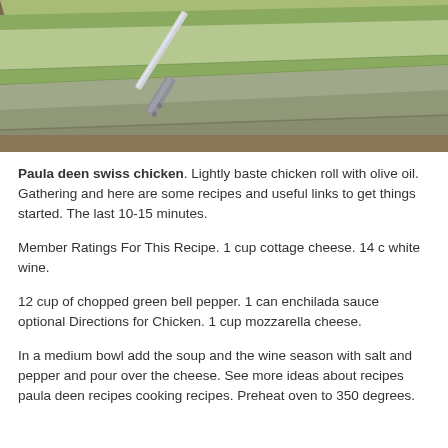[Figure (photo): Close-up photo of a knife or spatula resting on layered green folded cloth/napkins on a wooden surface]
Paula deen swiss chicken. Lightly baste chicken roll with olive oil. Gathering and here are some recipes and useful links to get things started. The last 10-15 minutes.
Member Ratings For This Recipe. 1 cup cottage cheese. 14 c white wine.
12 cup of chopped green bell pepper. 1 can enchilada sauce optional Directions for Chicken. 1 cup mozzarella cheese.
In a medium bowl add the soup and the wine season with salt and pepper and pour over the cheese. See more ideas about recipes paula deen recipes cooking recipes. Preheat oven to 350 degrees.